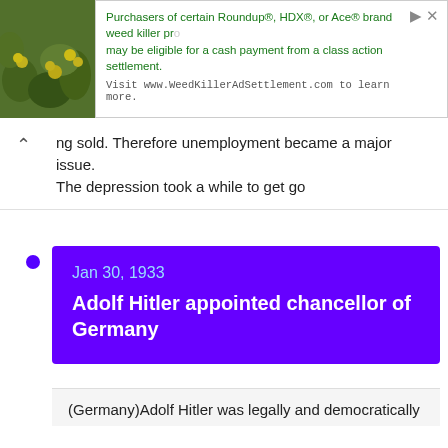[Figure (photo): Ad banner with photo of yellow flowers/plants on left and green text advertisement on right for WeedKillerAdSettlement.com]
ng sold. Therefore unemployment became a major issue.
The depression took a while to get go
Jan 30, 1933
Adolf Hitler appointed chancellor of Germany
(Germany)Adolf Hitler was legally and democratically
We and our partners will store and/or access personal data on your device through the use of cookies and similar technologies, to display personalised ads, for ad and content measurement, audience insights and product development.

By clicking 'I agree,' you consent to this, or you can manage your preferences.